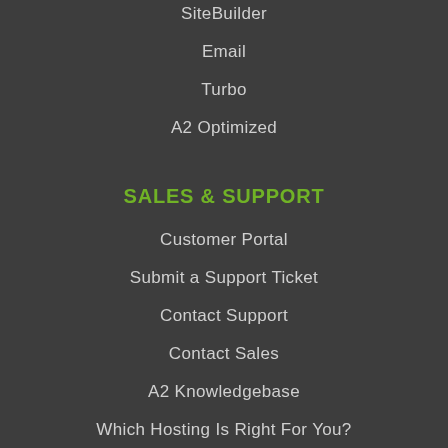SiteBuilder
Email
Turbo
A2 Optimized
SALES & SUPPORT
Customer Portal
Submit a Support Ticket
Contact Support
Contact Sales
A2 Knowledgebase
Which Hosting Is Right For You?